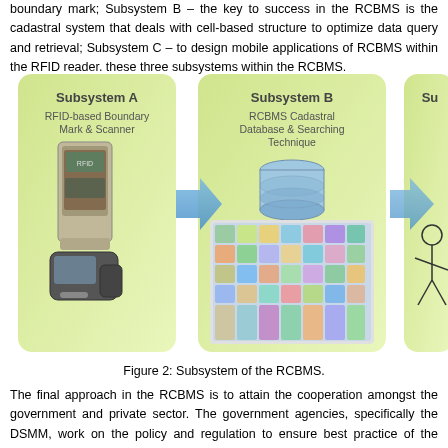boundary mark; Subsystem B – the key to success in the RCBMS is the cadastral system that deals with cell-based structure to optimize data query and retrieval; Subsystem C – to design mobile applications of RCBMS within the RFID reader. these three subsystems within the RCBMS.
[Figure (infographic): Diagram showing three subsystems of the RCBMS: Subsystem A (RFID-based Boundary Mark & Scanner) with images of RFID scanner devices, Subsystem B (RCBMS Cadastral Database & Searching Technique) with database and colorful map imagery, and a partially visible Subsystem C, connected by blue arrows.]
Figure 2: Subsystem of the RCBMS.
The final approach in the RCBMS is to attain the cooperation amongst the government and private sector. The government agencies, specifically the DSMM, work on the policy and regulation to ensure best practice of the RCBMS amongst the private sector. The uni-